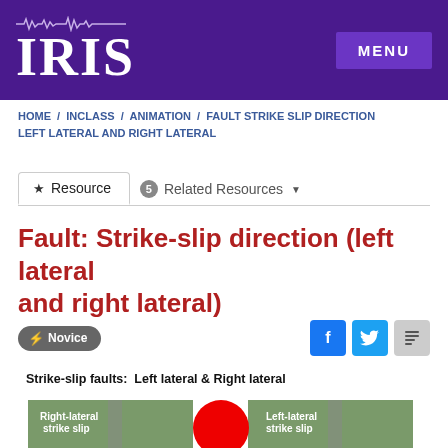IRIS  MENU
HOME / INCLASS / ANIMATION / FAULT STRIKE SLIP DIRECTION LEFT LATERAL AND RIGHT LATERAL
★ Resource   5 Related Resources ▼
Fault: Strike-slip direction (left lateral and right lateral)
⚡ Novice
Strike-slip faults:  Left lateral & Right lateral
[Figure (illustration): Diagram showing strike-slip faults with right-lateral strike slip on the left and left-lateral strike slip on the right, featuring green block terrain with a red circular marker in the center.]